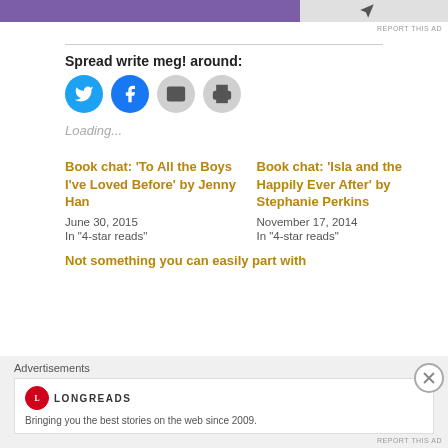[Figure (other): Purple advertisement banner at the top of the page with a small bird-like icon on the right side]
REPORT THIS AD
Spread write meg! around:
[Figure (other): Social sharing buttons: Twitter (blue bird), Facebook (blue f), Email (gray envelope), Print (gray printer)]
Loading...
Book chat: 'To All the Boys I've Loved Before' by Jenny Han
June 30, 2015
In "4-star reads"
Book chat: 'Isla and the Happily Ever After' by Stephanie Perkins
November 17, 2014
In "4-star reads"
Not something you can easily part with
Advertisements
[Figure (logo): Longreads logo - red circle with L, followed by LONGREADS text in uppercase]
Bringing you the best stories on the web since 2009.
REPORT THIS AD